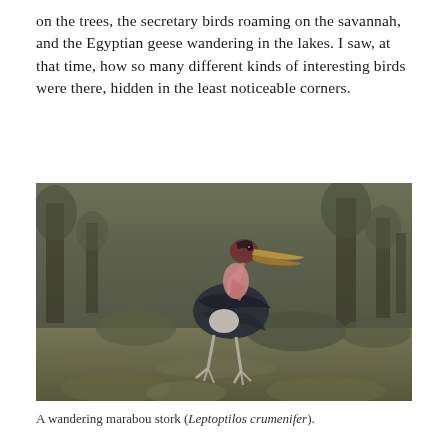on the trees, the secretary birds roaming on the savannah, and the Egyptian geese wandering in the lakes. I saw, at that time, how so many different kinds of interesting birds were there, hidden in the least noticeable corners.
[Figure (photo): A marabou stork (Leptoptilos crumenifer) walking on savannah ground with sparse trees and shrubs in the background. The large bird has dark grey-black plumage on its wings, a pinkish-red bare head and neck with a large throat pouch, a long heavy beak, and long pale legs.]
A wandering marabou stork (Leptoptilos crumenifer).